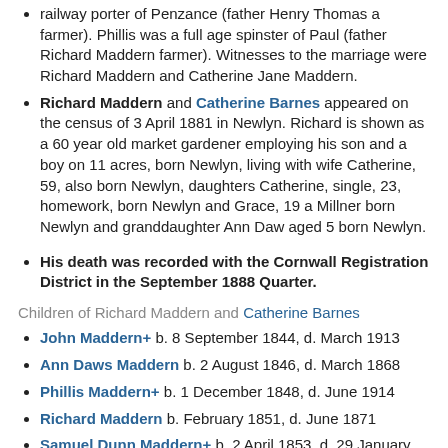railway porter of Penzance (father Henry Thomas a farmer). Phillis was a full age spinster of Paul (father Richard Maddern farmer). Witnesses to the marriage were Richard Maddern and Catherine Jane Maddern.
Richard Maddern and Catherine Barnes appeared on the census of 3 April 1881 in Newlyn. Richard is shown as a 60 year old market gardener employing his son and a boy on 11 acres, born Newlyn, living with wife Catherine, 59, also born Newlyn, daughters Catherine, single, 23, homework, born Newlyn and Grace, 19 a Millner born Newlyn and granddaughter Ann Daw aged 5 born Newlyn.
His death was recorded with the Cornwall Registration District in the September 1888 Quarter.
Children of Richard Maddern and Catherine Barnes
John Maddern+ b. 8 September 1844, d. March 1913
Ann Daws Maddern b. 2 August 1846, d. March 1868
Phillis Maddern+ b. 1 December 1848, d. June 1914
Richard Maddern b. February 1851, d. June 1871
Samuel Dunn Maddern+ b. 2 April 1853, d. 29 January